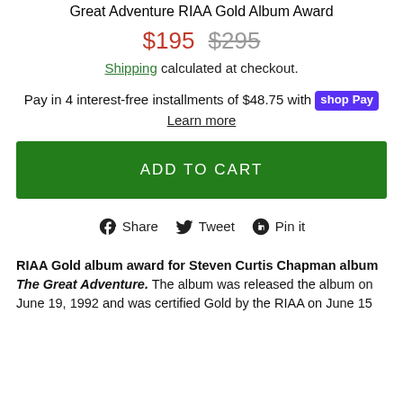Great Adventure RIAA Gold Album Award
$195  $295
Shipping calculated at checkout.
Pay in 4 interest-free installments of $48.75 with shop Pay
Learn more
ADD TO CART
Share  Tweet  Pin it
RIAA Gold album award for Steven Curtis Chapman album The Great Adventure. The album was released the album on June 19, 1992 and was certified Gold by the RIAA on June 15